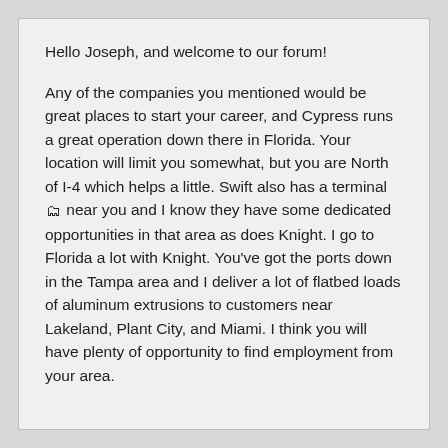Hello Joseph, and welcome to our forum!
Any of the companies you mentioned would be great places to start your career, and Cypress runs a great operation down there in Florida. Your location will limit you somewhat, but you are North of I-4 which helps a little. Swift also has a terminal 🚛 near you and I know they have some dedicated opportunities in that area as does Knight. I go to Florida a lot with Knight. You've got the ports down in the Tampa area and I deliver a lot of flatbed loads of aluminum extrusions to customers near Lakeland, Plant City, and Miami. I think you will have plenty of opportunity to find employment from your area.